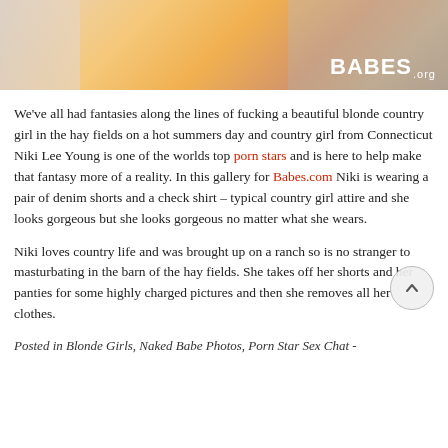[Figure (photo): Banner photo of a blonde woman outdoors with warm sunny background, BABES.com logo in bottom right corner]
We've all had fantasies along the lines of fucking a beautiful blonde country girl in the hay fields on a hot summers day and country girl from Connecticut Niki Lee Young is one of the worlds top porn stars and is here to help make that fantasy more of a reality. In this gallery for Babes.com Niki is wearing a pair of denim shorts and a check shirt – typical country girl attire and she looks gorgeous but she looks gorgeous no matter what she wears.
Niki loves country life and was brought up on a ranch so is no stranger to masturbating in the barn of the hay fields. She takes off her shorts and her panties for some highly charged pictures and then she removes all her clothes.
Posted in Blonde Girls, Naked Babe Photos, Porn Star Sex Chat -